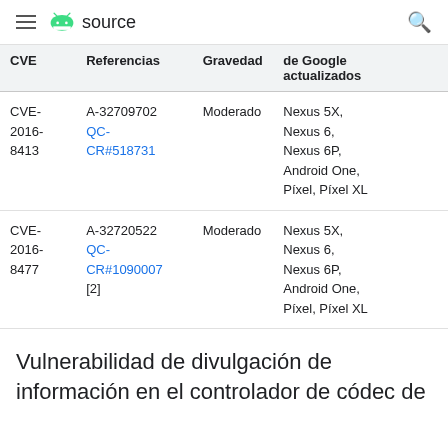≡ Android source 🔍
| CVE | Referencias | Gravedad | de Google actualizados |
| --- | --- | --- | --- |
| CVE-2016-8413 | A-32709702
QC-CR#518731 | Moderado | Nexus 5X, Nexus 6, Nexus 6P, Android One, Píxel, Píxel XL |
| CVE-2016-8477 | A-32720522
QC-CR#1090007 [2] | Moderado | Nexus 5X, Nexus 6, Nexus 6P, Android One, Píxel, Píxel XL |
Vulnerabilidad de divulgación de información en el controlador de códec de